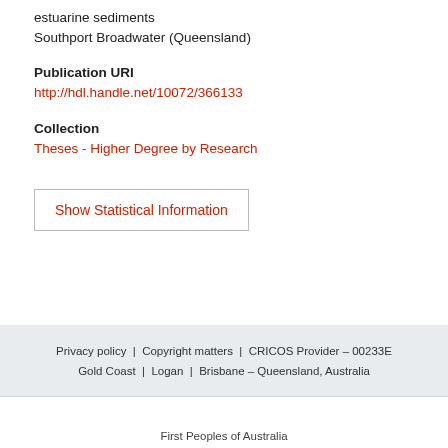estuarine sediments
Southport Broadwater (Queensland)
Publication URI
http://hdl.handle.net/10072/366133
Collection
Theses - Higher Degree by Research
Show Statistical Information
Privacy policy | Copyright matters | CRICOS Provider – 00233E
Gold Coast | Logan | Brisbane – Queensland, Australia
First Peoples of Australia